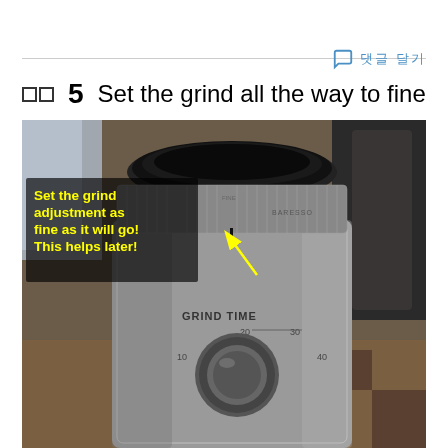댓글 달기
단계 5   Set the grind all the way to fine
[Figure (photo): Photo of a stainless steel coffee grinder (Baratza/DeLonghi style) showing the grind adjustment ring at top and GRIND TIME dial at bottom (labeled 10, 20, 30, 40). Yellow annotation text on dark overlay reads: 'Set the grind adjustment as fine as it will go! This helps later!' with a yellow arrow pointing to the grind ring indicator.]